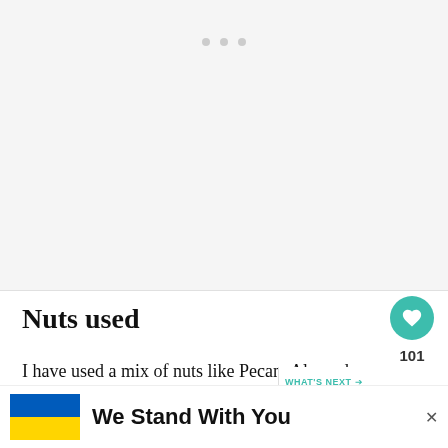[Figure (photo): Light gray image placeholder area with three pagination dots at top center]
Nuts used
I have used a mix of nuts like Pecan, Almonds, Brazil nuts, and walnuts. I have individually roasted them as I wanted them like that. The other re...h and be...y
[Figure (infographic): What's Next callout with thumbnail image for Masala Doodh (Spiced Milk...)]
[Figure (infographic): We Stand With You advertisement banner with Ukrainian flag (blue and yellow)]